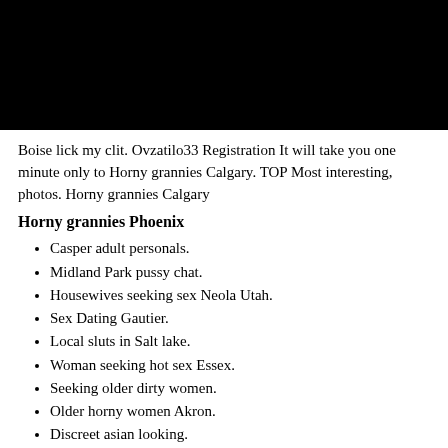[Figure (photo): Black rectangular image at top of page]
Boise lick my clit. Ovzatilo33 Registration It will take you one minute only to Horny grannies Calgary. TOP Most interesting, photos. Horny grannies Calgary
Horny grannies Phoenix
Casper adult personals.
Midland Park pussy chat.
Housewives seeking sex Neola Utah.
Sex Dating Gautier.
Local sluts in Salt lake.
Woman seeking hot sex Essex.
Seeking older dirty women.
Older horny women Akron.
Discreet asian looking.
Sex in Pickering ca.
46939 adult chat lines.